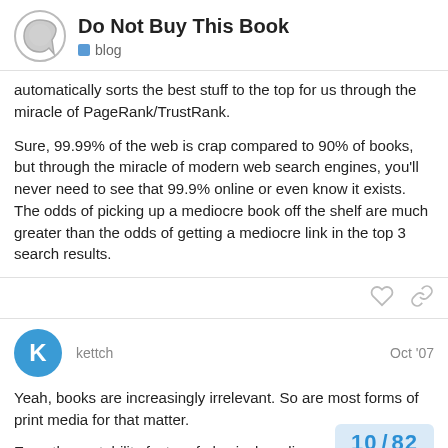Do Not Buy This Book | blog
automatically sorts the best stuff to the top for us through the miracle of PageRank/TrustRank.
Sure, 99.99% of the web is crap compared to 90% of books, but through the miracle of modern web search engines, you’ll never need to see that 99.9% online or even know it exists. The odds of picking up a mediocre book off the shelf are much greater than the odds of getting a mediocre link in the top 3 search results.
kettch — Oct '07
Yeah, books are increasingly irrelevant. So are most forms of print media for that matter.
Even the portability factor of physical medi